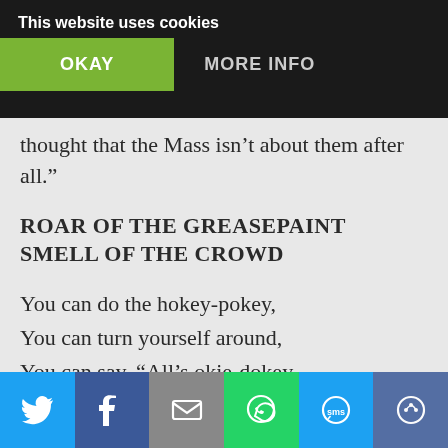This website uses cookies  OKAY  MORE INFO
“3. Aging hippies, Jesuits, and modernists (often one and the same) and readers of sites flipped out y thought that the Mass isn’t about them after all.”
ROAR OF THE GREASEPAINT SMELL OF THE CROWD
You can do the hokey-pokey,
You can turn yourself around,
You can say, “All’s okie-dokey
I was lost but now am found.”
You can Tango at the Masses
[Twitter] [Facebook] [Email] [WhatsApp] [SMS] [Share]